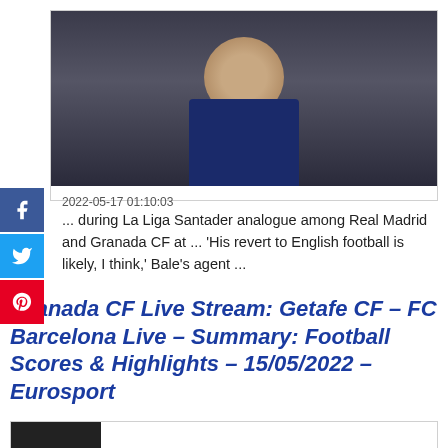[Figure (photo): Photo of a footballer (Gareth Bale) wearing a dark jacket, looking to the side, against a dark background]
2022-05-17 01:10:03
... during La Liga Santader analogue among Real Madrid and Granada CF at ... 'His revert to English football is likely, I think,' Bale's agent ...
Granada CF Live Stream: Getafe CF – FC Barcelona Live – Summary: Football Scores & Highlights – 15/05/2022 – Eurosport